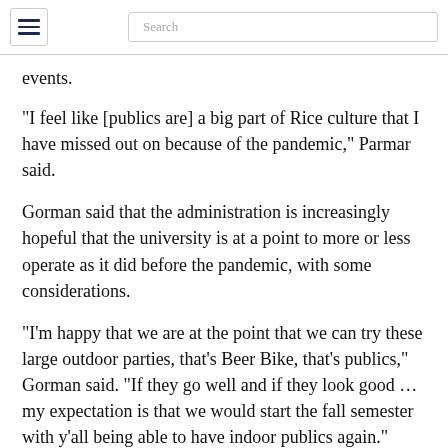[hamburger menu] [Search]
events.
“I feel like [publics are] a big part of Rice culture that I have missed out on because of the pandemic,” Parmar said.
Gorman said that the administration is increasingly hopeful that the university is at a point to more or less operate as it did before the pandemic, with some considerations.
“I’m happy that we are at the point that we can try these large outdoor parties, that’s Beer Bike, that’s publics,” Gorman said. “If they go well and if they look good … my expectation is that we would start the fall semester with y’all being able to have indoor publics again.”